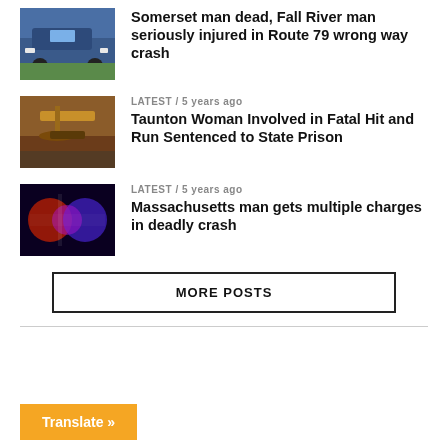[Figure (photo): Police SUV parked on grass]
Somerset man dead, Fall River man seriously injured in Route 79 wrong way crash
LATEST / 5 years ago
[Figure (photo): Judge gavel on desk]
Taunton Woman Involved in Fatal Hit and Run Sentenced to State Prison
LATEST / 5 years ago
[Figure (photo): Police car with flashing lights at night]
Massachusetts man gets multiple charges in deadly crash
MORE POSTS
Translate »